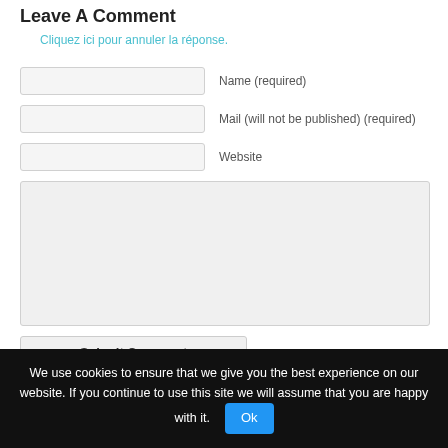Leave A Comment
Cliquez ici pour annuler la réponse.
Name (required)
Mail (will not be published) (required)
Website
Submit Comment
We use cookies to ensure that we give you the best experience on our website. If you continue to use this site we will assume that you are happy with it.  Ok